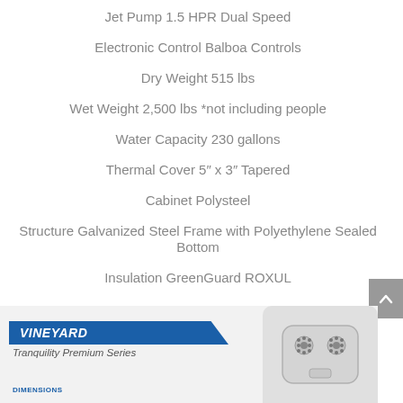Jet Pump 1.5 HPR Dual Speed
Electronic Control Balboa Controls
Dry Weight 515 lbs
Wet Weight 2,500 lbs *not including people
Water Capacity 230 gallons
Thermal Cover 5″ x 3″ Tapered
Cabinet Polysteel
Structure Galvanized Steel Frame with Polyethylene Sealed Bottom
Insulation GreenGuard ROXUL
[Figure (photo): Vineyard Tranquility Premium Series hot tub product card with brand label, DIMENSIONS heading, and control panel photo]